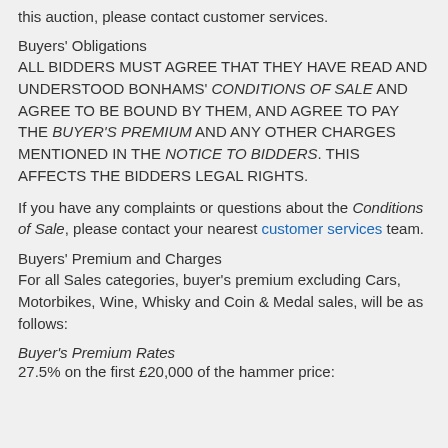this auction, please contact customer services.
Buyers' Obligations
ALL BIDDERS MUST AGREE THAT THEY HAVE READ AND UNDERSTOOD BONHAMS' CONDITIONS OF SALE AND AGREE TO BE BOUND BY THEM, AND AGREE TO PAY THE BUYER'S PREMIUM AND ANY OTHER CHARGES MENTIONED IN THE NOTICE TO BIDDERS. THIS AFFECTS THE BIDDERS LEGAL RIGHTS.
If you have any complaints or questions about the Conditions of Sale, please contact your nearest customer services team.
Buyers' Premium and Charges
For all Sales categories, buyer's premium excluding Cars, Motorbikes, Wine, Whisky and Coin & Medal sales, will be as follows:
Buyer's Premium Rates
27.5% on the first £20,000 of the hammer price: